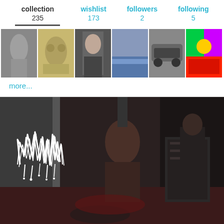collection 235 | wishlist 173 | followers 2 | following 5
[Figure (photo): Row of 6 album/photo thumbnails showing various images including a figure, vintage illustration, portrait, seascape, car, and colorful artwork]
more...
[Figure (photo): Dark album cover artwork showing a horror/metal scene with a white stylized band logo text overlay in the upper left corner]